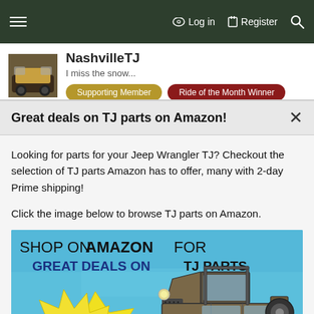≡  Log in   Register  🔍
NashvilleTJ
I miss the snow...
Supporting Member   Ride of the Month Winner
Great deals on TJ parts on Amazon!
Looking for parts for your Jeep Wrangler TJ? Checkout the selection of TJ parts Amazon has to offer, many with 2-day Prime shipping!
Click the image below to browse TJ parts on Amazon.
[Figure (illustration): Advertisement banner: SHOP ON AMAZON FOR GREAT DEALS ON TJ PARTS with yellow starburst saying CLICK HERE TO SHOP ON AMAZON and a Jeep Wrangler TJ illustration on a blue background]